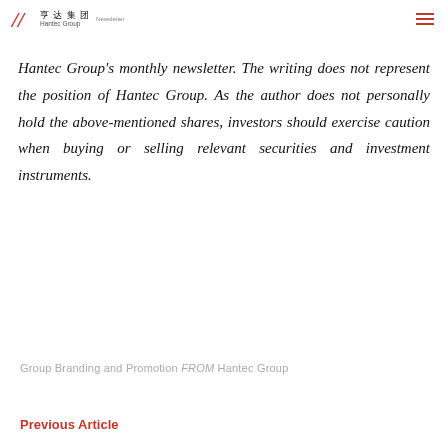Hantec Group
Hantec Group's monthly newsletter. The writing does not represent the position of Hantec Group. As the author does not personally hold the above-mentioned shares, investors should exercise caution when buying or selling relevant securities and investment instruments.
Group Branding and Promotion FROM Hantec Group
Previous Article